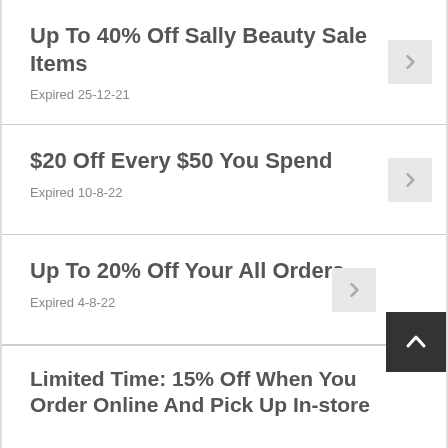Up To 40% Off Sally Beauty Sale Items
Expired 25-12-21
$20 Off Every $50 You Spend
Expired 10-8-22
Up To 20% Off Your All Orders
Expired 4-8-22
Limited Time: 15% Off When You Order Online And Pick Up In-store